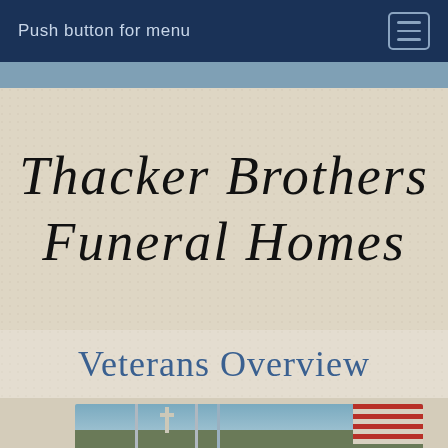Push button for menu
[Figure (logo): Thacker Brothers Funeral Homes logo in decorative italic script on linen-textured background]
Veterans Overview
[Figure (photo): Photo of cemetery or memorial with crosses, blue flag poles and an American flag against a sky background]